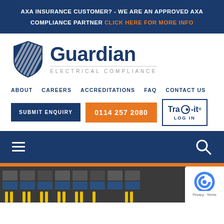AXA INSURANCE CUSTOMER? - WE ARE AN APPROVED AXA COMPLIANCE PARTNER CLICK HERE FOR MORE INFO
[Figure (logo): Guardian Electrical Compliance logo with shield icon and stylized text]
ABOUT   CAREERS   ACCREDITATIONS   FAQ   CONTACT US
SUBMIT ENQUIRY   0114 257 2080   TraQ-it LOG IN
[Figure (screenshot): Mobile navigation bar with hamburger menu and search icon on dark blue background, followed by orange stripe and electrical panel photo]
[Figure (other): reCAPTCHA Privacy Terms badge]